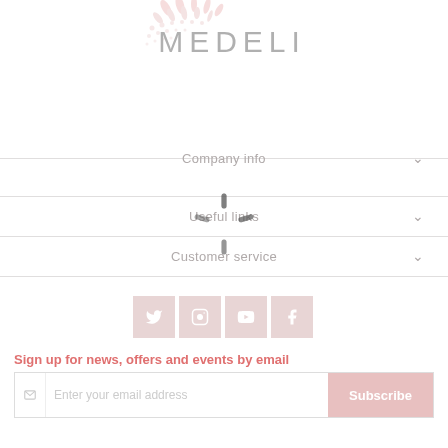[Figure (logo): Medeli brand logo with floral/dot pattern decoration and stylized text MEDELI in gray]
Company info
Useful links
Customer service
[Figure (infographic): Row of four social media icon buttons (Twitter, Instagram, YouTube, Facebook) with pink/mauve background]
Sign up for news, offers and events by email
Enter your email address  Subscribe